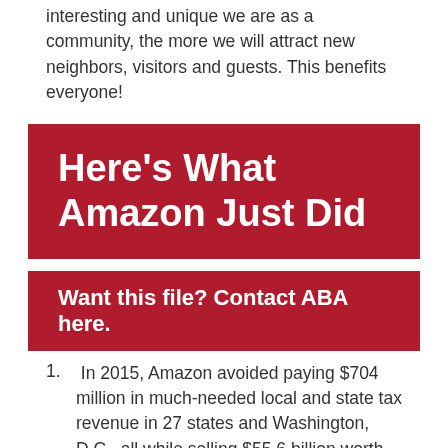interesting and unique we are as a community, the more we will attract new neighbors, visitors and guests. This benefits everyone!
Here's What Amazon Just Did
Want this file? Contact ABA here.
In 2015, Amazon avoided paying $704 million in much-needed local and state tax revenue in 27 states and Washington, D.C., all while selling $55.6 billion worth of retail goods nationwide.
In 2015, Amazon's retail sales displaced the